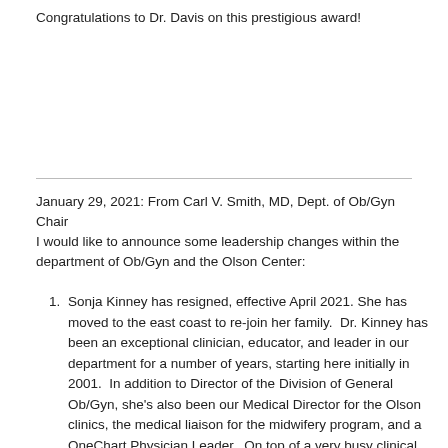Congratulations to Dr. Davis on this prestigious award!
January 29, 2021: From Carl V. Smith, MD, Dept. of Ob/Gyn Chair
I would like to announce some leadership changes within the department of Ob/Gyn and the Olson Center:
Sonja Kinney has resigned, effective April 2021. She has moved to the east coast to re-join her family. Dr. Kinney has been an exceptional clinician, educator, and leader in our department for a number of years, starting here initially in 2001. In addition to Director of the Division of General Ob/Gyn, she's also been our Medical Director for the Olson clinics, the medical liaison for the midwifery program, and a OneChart Physician Leader. On top of a very busy clinical practice, Dr. Kinney also found time